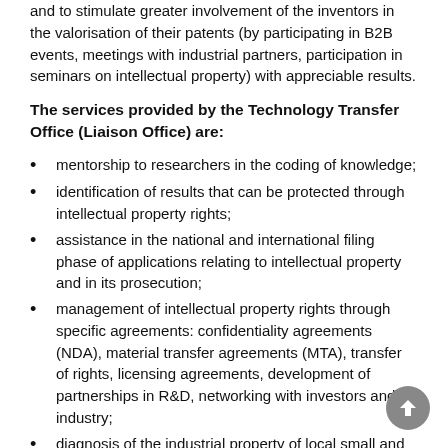and to stimulate greater involvement of the inventors in the valorisation of their patents (by participating in B2B events, meetings with industrial partners, participation in seminars on intellectual property) with appreciable results.
The services provided by the Technology Transfer Office (Liaison Office) are:
mentorship to researchers in the coding of knowledge;
identification of results that can be protected through intellectual property rights;
assistance in the national and international filing phase of applications relating to intellectual property and in its prosecution;
management of intellectual property rights through specific agreements: confidentiality agreements (NDA), material transfer agreements (MTA), transfer of rights, licensing agreements, development of partnerships in R&D, networking with investors and industry;
diagnosis of the industrial property of local small and